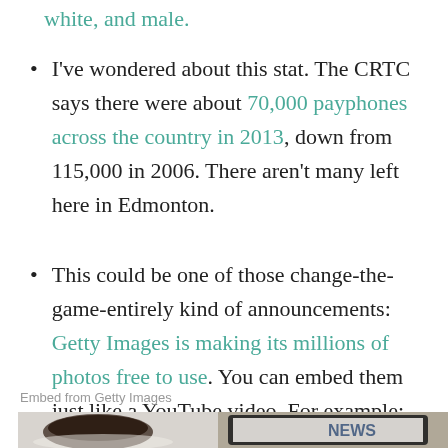white, and male.
I've wondered about this stat. The CRTC says there were about 70,000 payphones across the country in 2013, down from 115,000 in 2006. There aren't many left here in Edmonton.
This could be one of those change-the-game-entirely kind of announcements: Getty Images is making its millions of photos free to use. You can embed them just like a YouTube video. For example:
Embed from Getty Images
[Figure (photo): A photo showing a white cup of coffee on a saucer and a tablet device displaying news, placed on a wooden surface.]